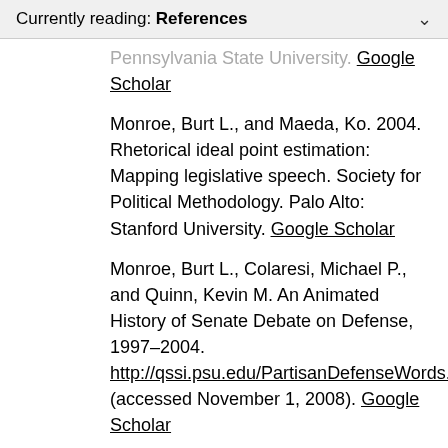Currently reading: References
Pennsylvania State University. Google Scholar
Monroe, Burt L., and Maeda, Ko. 2004. Rhetorical ideal point estimation: Mapping legislative speech. Society for Political Methodology. Palo Alto: Stanford University. Google Scholar
Monroe, Burt L., Colaresi, Michael P., and Quinn, Kevin M. An Animated History of Senate Debate on Defense, 1997–2004. http://qssi.psu.edu/PartisanDefenseWords.html (accessed November 1, 2008). Google Scholar